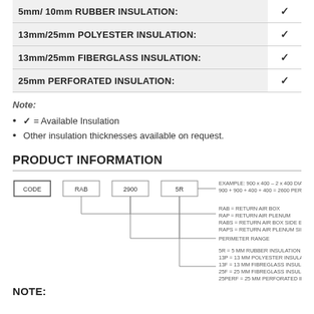| Type | Available |
| --- | --- |
| 5mm/10mm RUBBER INSULATION: | ✓ |
| 13mm/25mm POLYESTER INSULATION: | ✓ |
| 13mm/25mm FIBERGLASS INSULATION: | ✓ |
| 25mm PERFORATED INSULATION: | ✓ |
Note:
✓ = Available Insulation
Other insulation thicknesses available on request.
PRODUCT INFORMATION
[Figure (schematic): Product code diagram showing CODE | RAB | 2900 | 5R with annotations: EXAMPLE: 900 x 400 – 2 x 400 DIA SPIGOTS, 900+900+400+400 = 2600 PERIMETER. RAB = RETURN AIR BOX, RAP = RETURN AIR PLENUM, RABS = RETURN AIR BOX SIDE ENTRY, RAPS = RETURN AIR PLENUM SIDE ENTRY. PERIMETER RANGE. 5R = 5 MM RUBBER INSULATION, 13P = 13 MM POLYESTER INSULATION, 13F = 13 MM FIBREGLASS INSULATION, 25F = 25 MM FIBREGLASS INSULATION, 25PERF = 25 MM PERFORATED INSULATION.]
NOTE: